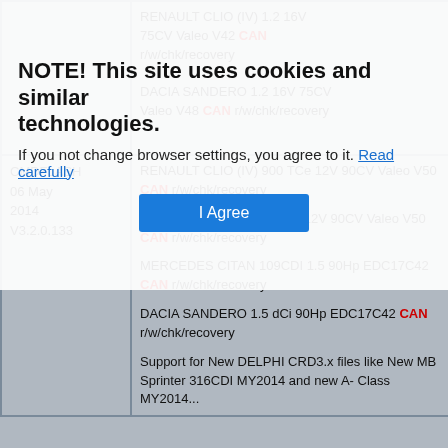| Version | Details |
| --- | --- |
|  | RENAULT CLIO (IV) 1.2 16V 75CV Valeo V42 CAN r/w/chk/recovery
DACIA SANDERO 1.2 16V 75CV Valeo V48 CAN r/w/chk/recovery |
| CMDFLASH
06 May 2014
V3.2.0.133 | RENAULT CLIO (IV) 900 TCe 12V 90CV Valeo V50 CAN r/w/chk/recovery
DACIA SANDERO 900 TCe 12V 90CV Valeo V50 CAN r/w/chk/recovery
MERCEDES CITAN 109CDI 1.5 90Hp EDC17C42 CAN r/w/chk/recovery
DACIA SANDERO 1.5 dCi 90Hp EDC17C42 CAN r/w/chk/recovery
Support for New DELPHI CRD3.x files like New MB Sprinter 316CDI MY2014 and new A-Class MY2014... |
NOTE! This site uses cookies and similar technologies. If you not change browser settings, you agree to it. Read carefully
I Agree